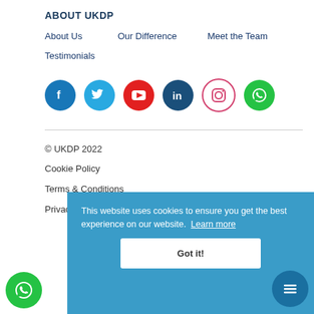ABOUT UKDP
About Us
Our Difference
Meet the Team
Testimonials
[Figure (other): Social media icons: Facebook, Twitter, YouTube, LinkedIn, Instagram, WhatsApp]
© UKDP 2022
Cookie Policy
Terms & Conditions
Privacy Policy
This website uses cookies to ensure you get the best experience on our website. Learn more
Got it!